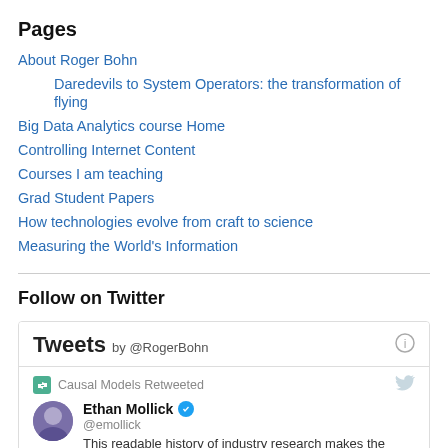Pages
About Roger Bohn
Daredevils to System Operators: the transformation of flying
Big Data Analytics course Home
Controlling Internet Content
Courses I am teaching
Grad Student Papers
How technologies evolve from craft to science
Measuring the World's Information
Follow on Twitter
[Figure (screenshot): Twitter widget showing Tweets by @RogerBohn. A retweet by Causal Models. Ethan Mollick (@emollick) with verified badge. Tweet text: This readable history of industry research makes the]